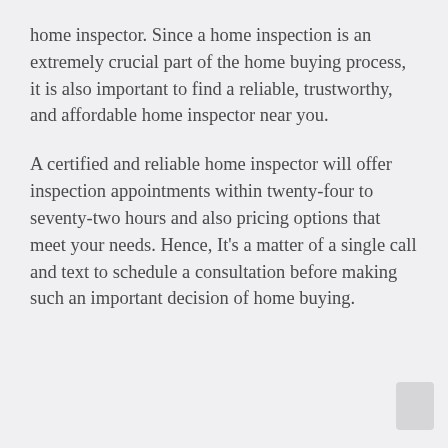home inspector. Since a home inspection is an extremely crucial part of the home buying process, it is also important to find a reliable, trustworthy, and affordable home inspector near you.
A certified and reliable home inspector will offer inspection appointments within twenty-four to seventy-two hours and also pricing options that meet your needs. Hence, It’s a matter of a single call and text to schedule a consultation before making such an important decision of home buying.